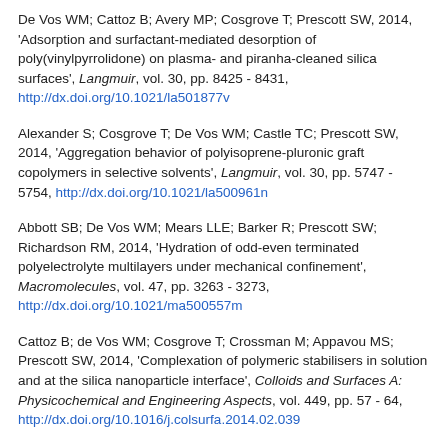De Vos WM; Cattoz B; Avery MP; Cosgrove T; Prescott SW, 2014, 'Adsorption and surfactant-mediated desorption of poly(vinylpyrrolidone) on plasma- and piranha-cleaned silica surfaces', Langmuir, vol. 30, pp. 8425 - 8431, http://dx.doi.org/10.1021/la501877v
Alexander S; Cosgrove T; De Vos WM; Castle TC; Prescott SW, 2014, 'Aggregation behavior of polyisoprene-pluronic graft copolymers in selective solvents', Langmuir, vol. 30, pp. 5747 - 5754, http://dx.doi.org/10.1021/la500961n
Abbott SB; De Vos WM; Mears LLE; Barker R; Prescott SW; Richardson RM, 2014, 'Hydration of odd-even terminated polyelectrolyte multilayers under mechanical confinement', Macromolecules, vol. 47, pp. 3263 - 3273, http://dx.doi.org/10.1021/ma500557m
Cattoz B; de Vos WM; Cosgrove T; Crossman M; Appavou MS; Prescott SW, 2014, 'Complexation of polymeric stabilisers in solution and at the silica nanoparticle interface', Colloids and Surfaces A: Physicochemical and Engineering Aspects, vol. 449, pp. 57 - 64, http://dx.doi.org/10.1016/j.colsurfa.2014.02.039
Dane TG; Cresswell PT; Pilkington GA; Lilliu S; MacDonald JE; Prescott SW; Bikondoa O; Faul CFJ; Briscoe WH, 2013, 'Oligo(aniline) nanofilms: From molecular architecture to microstructure', Soft Matter, vol. 9, pp. 10501 - 10511, http://dx.doi.org/10.1039/c3sm51407b
Cooper CL; Cosgrove T; Van Duijneveldt JS; Murray M; Prescott SW, 2013, ...